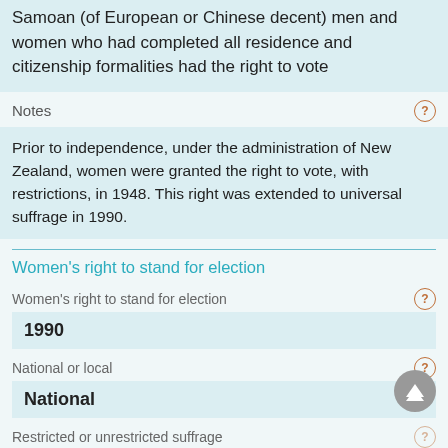Samoan (of European or Chinese decent) men and women who had completed all residence and citizenship formalities had the right to vote
Notes
Prior to independence, under the administration of New Zealand, women were granted the right to vote, with restrictions, in 1948. This right was extended to universal suffrage in 1990.
Women's right to stand for election
Women's right to stand for election
1990
National or local
National
Restricted or unrestricted suffrage
Universal